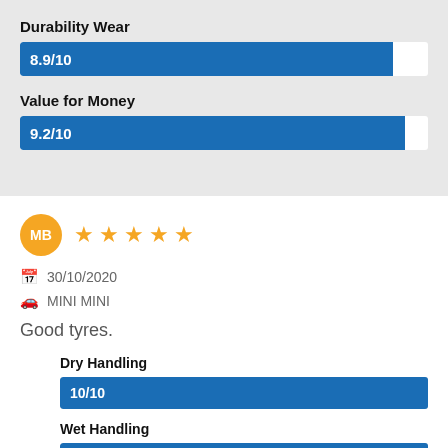Durability Wear
[Figure (bar-chart): Durability Wear]
Value for Money
[Figure (bar-chart): Value for Money]
MB ★★★★★
30/10/2020
MINI MINI
Good tyres.
Dry Handling
[Figure (bar-chart): Dry Handling]
Wet Handling
[Figure (bar-chart): Wet Handling]
Comfort Noise